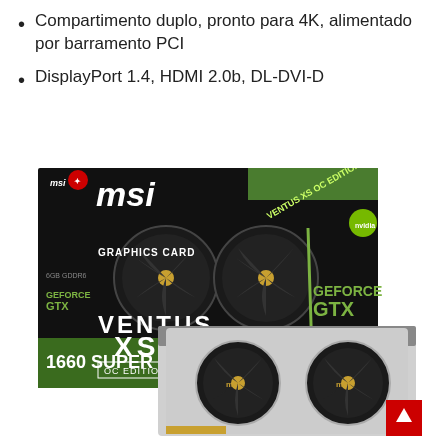Compartimento duplo, pronto para 4K, alimentado por barramento PCI
DisplayPort 1.4, HDMI 2.0b, DL-DVI-D
[Figure (photo): MSI GeForce GTX 1660 Super Ventus XS OC Edition graphics card product photo showing the retail box and the GPU card itself. The box is black and green with MSI branding, Ventus XS OC Edition text, and GeForce GTX logo. The card shows dual fans with silver shroud.]